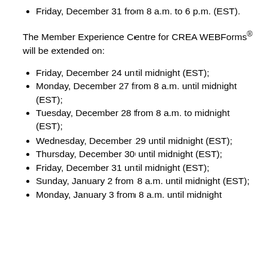Friday, December 31 from 8 a.m. to 6 p.m. (EST).
The Member Experience Centre for CREA WEBForms® will be extended on:
Friday, December 24 until midnight (EST);
Monday, December 27 from 8 a.m. until midnight (EST);
Tuesday, December 28 from 8 a.m. to midnight (EST);
Wednesday, December 29 until midnight (EST);
Thursday, December 30 until midnight (EST);
Friday, December 31 until midnight (EST);
Sunday, January 2 from 8 a.m. until midnight (EST);
Monday, January 3 from 8 a.m. until midnight